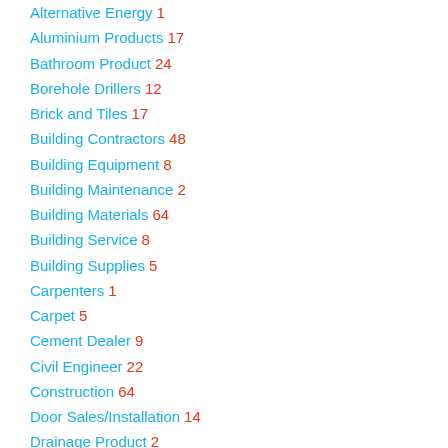Alternative Energy 1
Aluminium Products 17
Bathroom Product 24
Borehole Drillers 12
Brick and Tiles 17
Building Contractors 48
Building Equipment 8
Building Maintenance 2
Building Materials 64
Building Service 8
Building Supplies 5
Carpenters 1
Carpet 5
Cement Dealer 9
Civil Engineer 22
Construction 64
Door Sales/Installation 14
Drainage Product 2
Drilling Contractor 12
Drilling Equipment ...